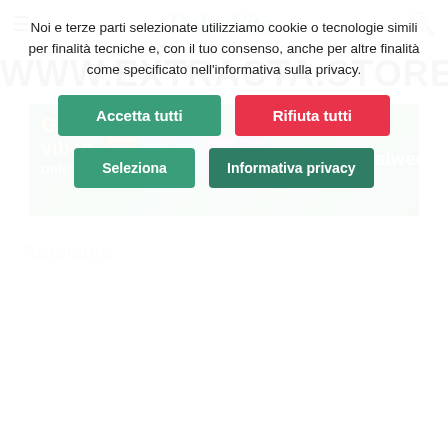DolceVita
WWW.EXTRACTA.STORE
[Figure (illustration): Advertisement banner for legalweed.it with 'Good vibes only' text and product images on a green cannabis leaf background]
Attiviamo
Noi e terze parti selezionate utilizziamo cookie o tecnologie simili per finalità tecniche e, con il tuo consenso, anche per altre finalità come specificato nell'informativa sulla privacy.
Accetta tutti
Rifiuta tutti
Seleziona
Informativa privacy